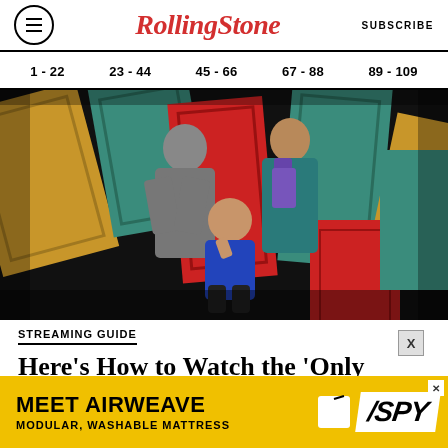RollingStone | SUBSCRIBE
1 - 22   23 - 44   45 - 66   67 - 88   89 - 109
[Figure (photo): Promotional photo of three cast members of 'Only Murders in the Building' standing/sitting among colorful doors (teal, yellow, red) on a dark background]
STREAMING GUIDE
Here's How to Watch the 'Only Murders in the Building' Season Two
[Figure (other): Advertisement banner: MEET AIRWEAVE MODULAR, WASHABLE MATTRESS with SPY logo]